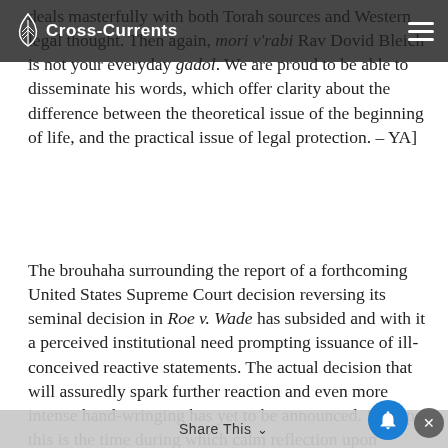Cross-Currents
deals masterfully with both Torah sources and Western legal thought. Then again, mori v'rabi Rav Dovid Bleich is not your everyday gadol. We are proud to be able to disseminate his words, which offer clarity about the difference between the theoretical issue of the beginning of life, and the practical issue of legal protection. – YA]
The brouhaha surrounding the report of a forthcoming United States Supreme Court decision reversing its seminal decision in Roe v. Wade has subsided and with it a perceived institutional need prompting issuance of ill-conceived reactive statements. The actual decision that will assuredly spark further reaction and even more intense hand-wringing has yet to be announced. Perhaps this is the time during which calm reflection upon relevant
Share This